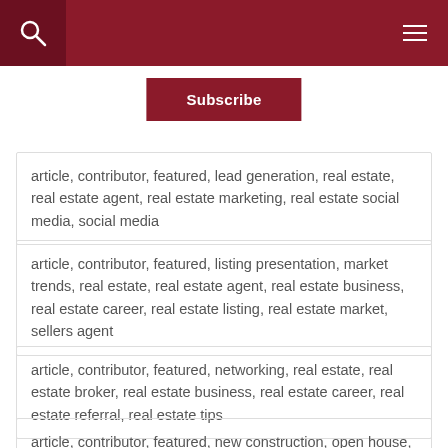[Figure (screenshot): Dark red website header bar with search icon on left and hamburger menu icon on right]
Subscribe
article, contributor, featured, lead generation, real estate, real estate agent, real estate marketing, real estate social media, social media
article, contributor, featured, listing presentation, market trends, real estate, real estate agent, real estate business, real estate career, real estate listing, real estate market, sellers agent
article, contributor, featured, networking, real estate, real estate broker, real estate business, real estate career, real estate referral, real estate tips
article, contributor, featured, new construction, open house, real estate, real estate agent, real estate agent-builder relationship, real estate clients, real estate listing, selling